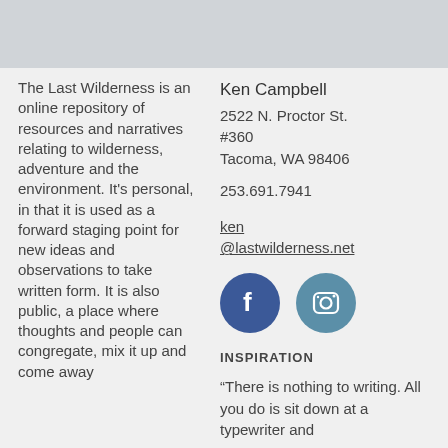The Last Wilderness is an online repository of resources and narratives relating to wilderness, adventure and the environment. It's personal, in that it is used as a forward staging point for new ideas and observations to take written form. It is also public, a place where thoughts and people can congregate, mix it up and come away
Ken Campbell
2522 N. Proctor St. #360
Tacoma, WA 98406
253.691.7941   ken@lastwilderness.net
[Figure (logo): Facebook circle icon (blue) and Instagram circle icon (steel blue)]
INSPIRATION
“There is nothing to writing. All you do is sit down at a typewriter and